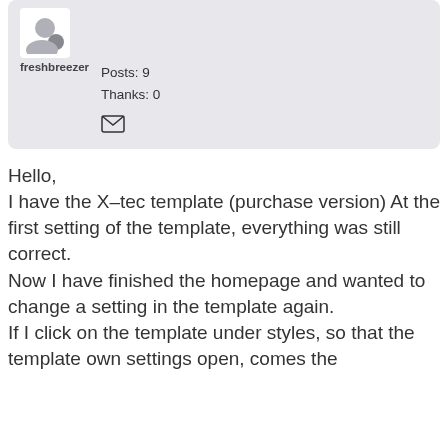[Figure (other): User profile card with avatar icon, username 'freshbreezer', Posts: 9, Thanks: 0, and envelope/mail icon]
Hello,
I have the X-tec template (purchase version) At the first setting of the template, everything was still correct.
Now I have finished the homepage and wanted to change a setting in the template again.
If I click on the template under styles, so that the template own settings open, comes the